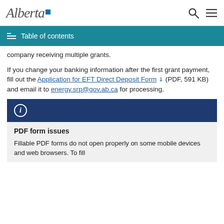Alberta [logo]
Table of contents
company receiving multiple grants.
If you change your banking information after the first grant payment, fill out the Application for EFT Direct Deposit Form (PDF, 591 KB) and email it to energy.srp@gov.ab.ca for processing.
PDF form issues
Fillable PDF forms do not open properly on some mobile devices and web browsers. To fill